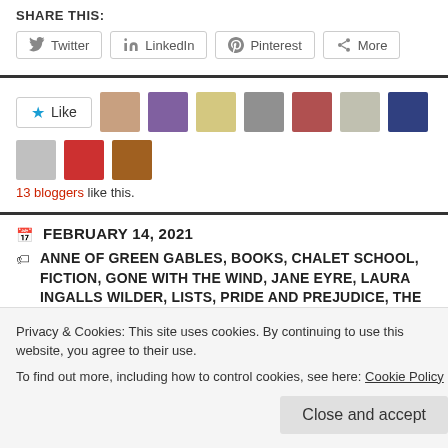SHARE THIS:
Twitter, LinkedIn, Pinterest, More (share buttons)
Like section with 13 bloggers avatars
13 bloggers like this.
FEBRUARY 14, 2021
ANNE OF GREEN GABLES, BOOKS, CHALET SCHOOL, FICTION, GONE WITH THE WIND, JANE EYRE, LAURA INGALLS WILDER, LISTS, PRIDE AND PREJUDICE, THE THORN BIRDS
Privacy & Cookies: This site uses cookies. By continuing to use this website, you agree to their use.
To find out more, including how to control cookies, see here: Cookie Policy
Close and accept